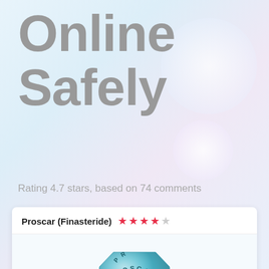Online Safely
Rating 4.7 stars, based on 74 comments
[Figure (illustration): Product card for Proscar (Finasteride) showing a blue octagonal pill with PROSCAR text, 4.5 star rating, and a yellow button at the bottom]